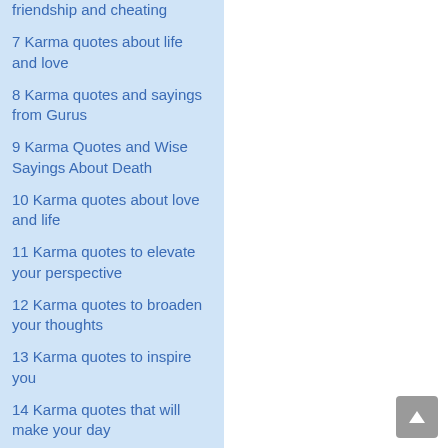friendship and cheating
7  Karma quotes about life and love
8  Karma quotes and sayings from Gurus
9  Karma Quotes and Wise Sayings About Death
10  Karma quotes about love and life
11  Karma quotes to elevate your perspective
12  Karma quotes to broaden your thoughts
13  Karma quotes to inspire you
14  Karma quotes that will make your day
15  Karma quotes and...